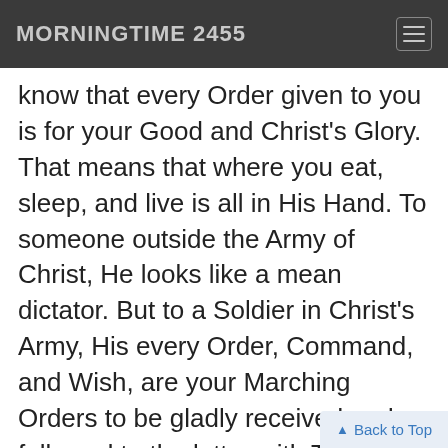MORNINGTIME 2455
know that every Order given to you is for your Good and Christ's Glory. That means that where you eat, sleep, and live is all in His Hand. To someone outside the Army of Christ, He looks like a mean dictator. But to a Soldier in Christ's Army, His every Order, Command, and Wish, are your Marching Orders to be gladly received and followed to the letter with True Joy in your Heart. IN CHRIST is not a democracy to vote on or set up a committee to decide if it's worth it or not. IT'S CHRIST'S NARROW WAY (to Heaven), or it's your way down the wide road to Hell, death, and destruction... decide. Those are (some of) the Rule...